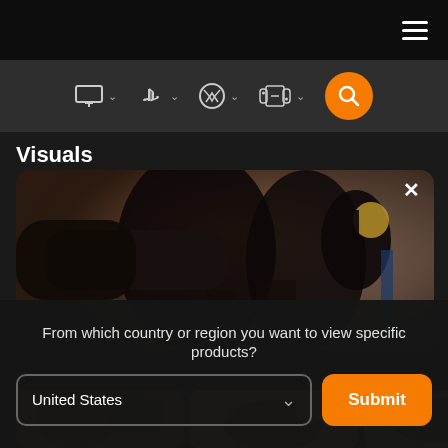[Figure (screenshot): Dark top navigation bar with hamburger menu icon on the right]
[Figure (screenshot): Navigation bar with icons for PC (monitor), PlayStation, Xbox, Nintendo Switch, and an orange search button]
Visuals
[Figure (photo): Dark game screenshot showing two silhouetted characters in combat, close-up of fist/arm, dramatic lighting with dusk sky background. Close (X) button in top right corner.]
[Figure (screenshot): Thumbnail strip showing four small game screenshots]
From which country or region you want to view specific products?
[Figure (screenshot): Dropdown selector showing 'United States' with a Submit button in orange]